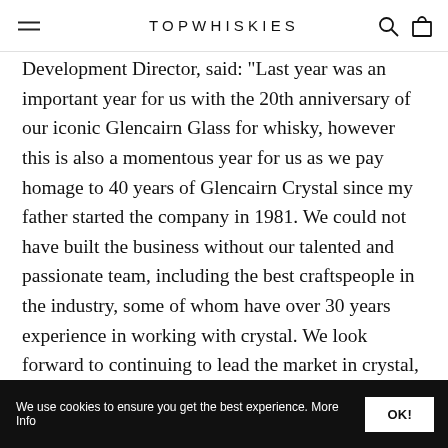TOPWHISKIES
Development Director, said: "Last year was an important year for us with the 20th anniversary of our iconic Glencairn Glass for whisky, however this is also a momentous year for us as we pay homage to 40 years of Glencairn Crystal since my father started the company in 1981. We could not have built the business without our talented and passionate team, including the best craftspeople in the industry, some of whom have over 30 years experience in working with crystal. We look forward to continuing to lead the market in crystal, glass and container innovation and craftsmanship, whilst working with friends and colleagues across the industry."
We use cookies to ensure you get the best experience. More Info | OK!